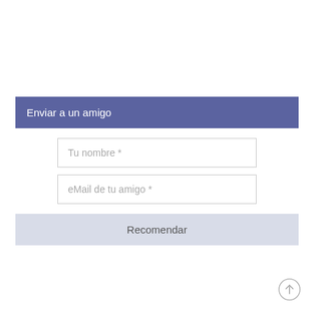Enviar a un amigo
Tu nombre *
eMail de tu amigo *
Recomendar
[Figure (illustration): Scroll-to-top circular arrow button icon in bottom right corner]